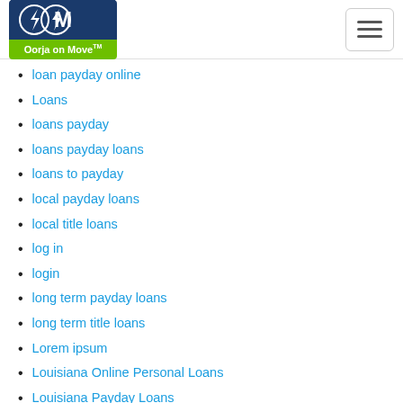Oorja on Move logo and navigation
loan payday online
Loans
loans payday
loans payday loans
loans to payday
local payday loans
local title loans
log in
login
long term payday loans
long term title loans
Lorem ipsum
Louisiana Online Personal Loans
Louisiana Payday Loans
Louisiana payday loans near me
love ru dating